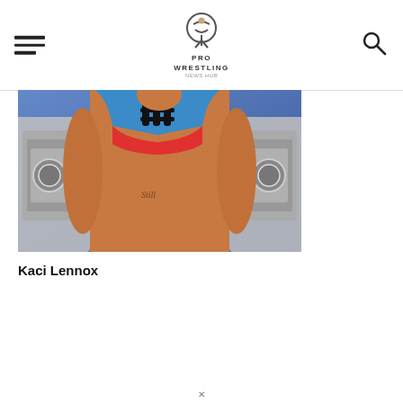PRO WRESTLING NEWS HUB
[Figure (photo): Kaci Lennox, a female professional wrestler, posing in a blue metallic top with red accents, holding championship belts on each side, with a tattoo visible on her abdomen. Background is dark blue/grey.]
Kaci Lennox